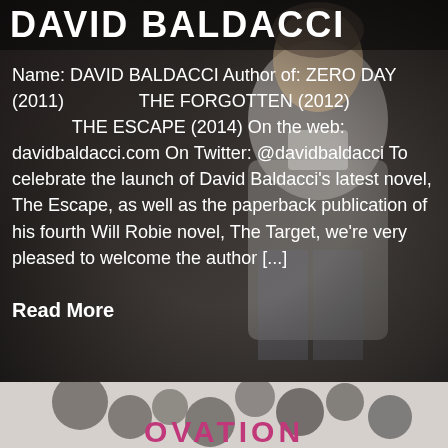DAVID BALDACCI
Name: DAVID BALDACCI Author of: ZERO DAY (2011)               THE FORGOTTEN (2012)             THE ESCAPE (2014) On the web: davidbaldacci.com On Twitter: @davidbaldacci To celebrate the launch of David Baldacci's latest novel, The Escape, as well as the paperback publication of his fourth Will Robie novel, The Target, we're very pleased to welcome the author [...]
Read More
[Figure (photo): Bottom portion of another book cover with pink/magenta title text visible at bottom, partially cropped]